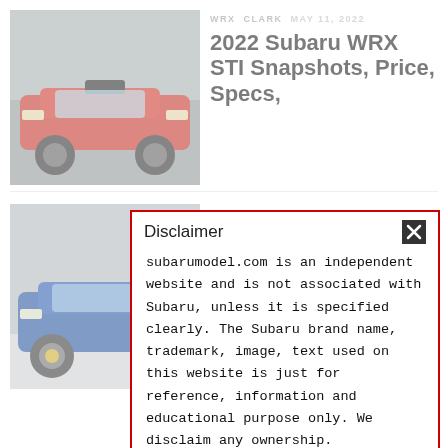[Figure (photo): Red Subaru WRX STI car photographed outdoors against rocky background]
WRX CLARK MAY 11, 2022
2022 Subaru WRX STI Snapshots, Price, Specs,
[Figure (photo): Blue Subaru WRX STI car on grey studio background]
2022
WRX Sti Colors, Release Date, Price
New 2022 Subaru WRX Sti Colors, Release Date, Price – The all-new
Disclaimer

subarumodel.com is an independent website and is not associated with Subaru, unless it is specified clearly. The Subaru brand name, trademark, image, text used on this website is just for reference, information and educational purpose only. We disclaim any ownership.